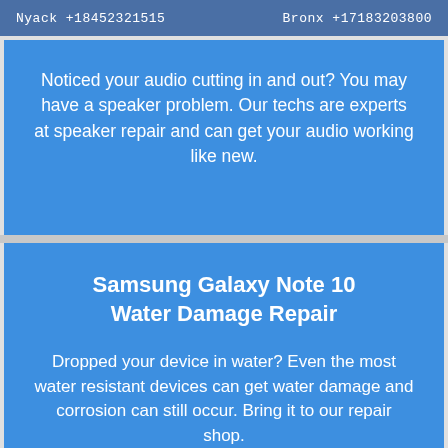Nyack +18452321515  Bronx +17183203800
Noticed your audio cutting in and out? You may have a speaker problem. Our techs are experts at speaker repair and can get your audio working like new.
Samsung Galaxy Note 10 Water Damage Repair
Dropped your device in water? Even the most water resistant devices can get water damage and corrosion can still occur. Bring it to our repair shop.